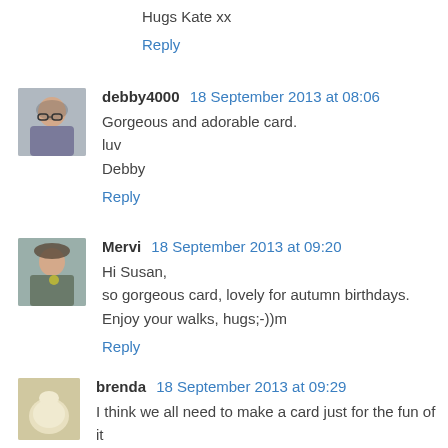Hugs Kate xx
Reply
debby4000  18 September 2013 at 08:06
Gorgeous and adorable card.
luv
Debby
Reply
Mervi  18 September 2013 at 09:20
Hi Susan,
so gorgeous card, lovely for autumn birthdays.
Enjoy your walks, hugs;-))m
Reply
brenda  18 September 2013 at 09:29
I think we all need to make a card just for the fun of it